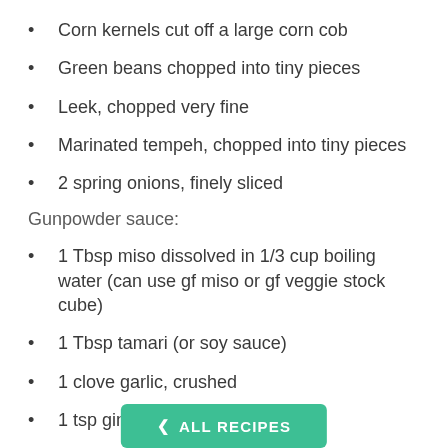Corn kernels cut off a large corn cob
Green beans chopped into tiny pieces
Leek, chopped very fine
Marinated tempeh, chopped into tiny pieces
2 spring onions, finely sliced
Gunpowder sauce:
1 Tbsp miso dissolved in 1/3 cup boiling water (can use gf miso or gf veggie stock cube)
1 Tbsp tamari (or soy sauce)
1 clove garlic, crushed
1 tsp ginger, finely diced
ALL RECIPES